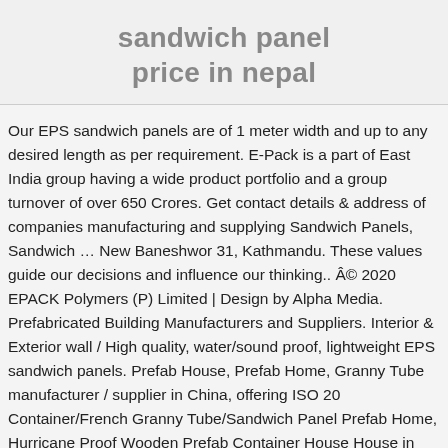sandwich panel price in nepal
Our EPS sandwich panels are of 1 meter width and up to any desired length as per requirement. E-Pack is a part of East India group having a wide product portfolio and a group turnover of over 650 Crores. Get contact details & address of companies manufacturing and supplying Sandwich Panels, Sandwich … New Baneshwor 31, Kathmandu. These values guide our decisions and influence our thinking.. © 2020 EPACK Polymers (P) Limited | Design by Alpha Media. Prefabricated Building Manufacturers and Suppliers. Interior & Exterior wall / High quality, water/sound proof, lightweight EPS sandwich panels. Prefab House, Prefab Home, Granny Tube manufacturer / supplier in China, offering ISO 20 Container/French Granny Tube/Sandwich Panel Prefab Home, Hurricane Proof Wooden Prefab Container House House in Nepal Price, Container,Corner Hot Sale Factory Price for Sale, House...